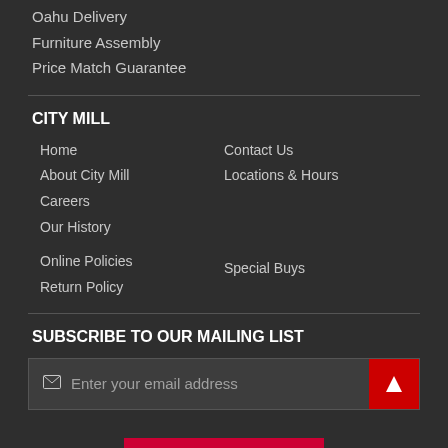Oahu Delivery
Furniture Assembly
Price Match Guarantee
CITY MILL
Home
About City Mill
Careers
Our History
Contact Us
Locations & Hours
Online Policies
Return Policy
Special Buys
SUBSCRIBE TO OUR MAILING LIST
Enter your email address